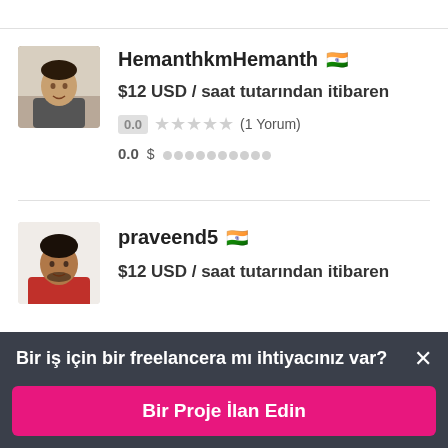[Figure (photo): Profile photo of HemanthkmHemanth]
HemanthkmHemanth 🇮🇳
$12 USD / saat tutarından itibaren
0.0 ★★★★★ (1 Yorum)
0.0 $ ●●●●●●●●●●
[Figure (photo): Profile photo of praveend5]
praveend5 🇮🇳
$12 USD / saat tutarından itibaren
Bir iş için bir freelancera mı ihtiyacınız var? ×
Bir Proje İlan Edin